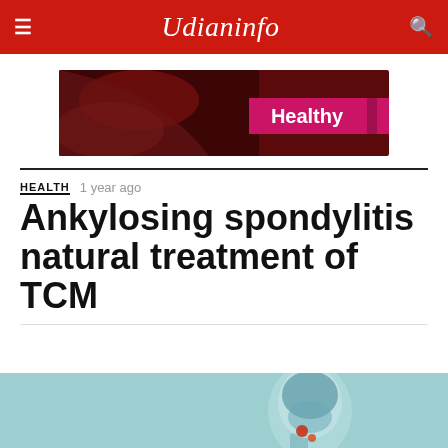Udianinfo
[Figure (photo): Banner advertisement with a dark red/pink background showing 'Healthy' text and a decorative image]
HEALTH  1 year ago
Ankylosing spondylitis natural treatment of TCM
[Figure (photo): Medical illustration of a human body/spine X-ray style image on a teal/light blue background, partially cropped at the bottom of the page]